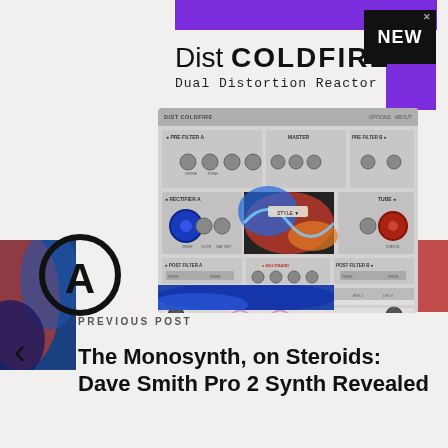[Figure (screenshot): Advertisement for Arturia Dist COLDFIRE Dual Distortion Reactor plugin. Shows product name, 'NEW' badge, and plugin UI screenshot with knobs, colorful artwork panel, and modulation section. Purple decorative bars, red rectangle accent, and Arturia logo visible.]
PREVIOUS POST
The Monosynth, on Steroids: Dave Smith Pro 2 Synth Revealed